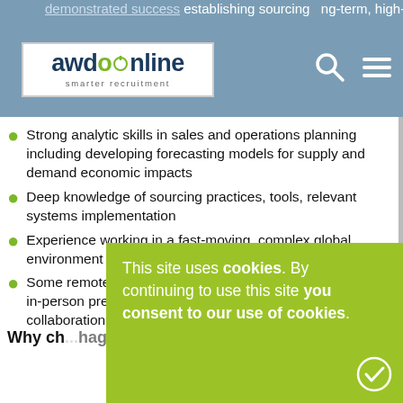awdonline smarter recruitment
Strong analytic skills in sales and operations planning including developing forecasting models for supply and demand economic impacts
Deep knowledge of sourcing practices, tools, relevant systems implementation
Experience working in a fast-moving, complex global environment
Some remote work is feasible for this position, but a strong in-person presence at our plants is needed for close collaboration
Why ch...hagary?
This site uses cookies. By continuing to use this site you consent to our use of cookies.